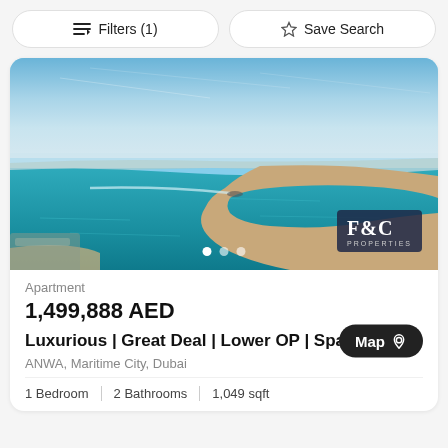Filters (1)   Save Search
[Figure (photo): Aerial view of a turquoise bay in Dubai with a curved sandy shoreline and a vessel on the water. F&C Properties logo in bottom right corner.]
Apartment
1,499,888 AED
Luxurious | Great Deal | Lower OP | Spacious
ANWA, Maritime City, Dubai
1 Bedroom   2 Bathrooms   1,049 sqft